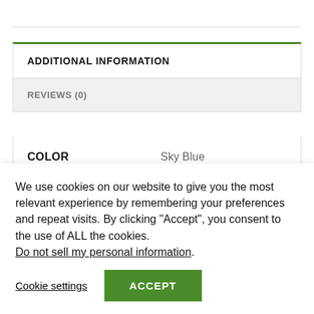ADDITIONAL INFORMATION
REVIEWS (0)
| Attribute | Value |
| --- | --- |
| COLOR | Sky Blue |
| FABRIC | Soft Net |
We use cookies on our website to give you the most relevant experience by remembering your preferences and repeat visits. By clicking “Accept”, you consent to the use of ALL the cookies. Do not sell my personal information.
Cookie settings  ACCEPT